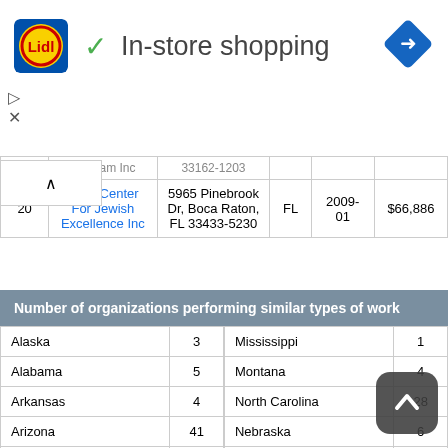[Figure (logo): Lidl logo in yellow/red circle with blue border]
✓ In-store shopping
[Figure (other): Blue diamond navigation/directions icon]
[Figure (other): Ad play and close (X) controls]
| # | Organization | Address | State | Date | Amount |
| --- | --- | --- | --- | --- | --- |
|  | Program Inc | 33162-1203 |  |  |  |
| 20 | Mark Center For Jewish Excellence Inc | 5965 Pinebrook Dr, Boca Raton, FL 33433-5230 | FL | 2009-01 | $66,886 |
| Number of organizations performing similar types of work |
| --- |
| Alaska | 3 | Mississippi | 1 |
| Alabama | 5 | Montana | 4 |
| Arkansas | 4 | North Carolina | 28 |
| Arizona | 41 | Nebraska | 6 |
| California | 427 | New Hampshire | 3 |
| Colorado | 62 | New Jersey | 438 |
| Connecticut | 55 | New Mexico |  |
| District of Columbia | 14 | Nevada | 17 |
|  |  | New York | 2,155 |